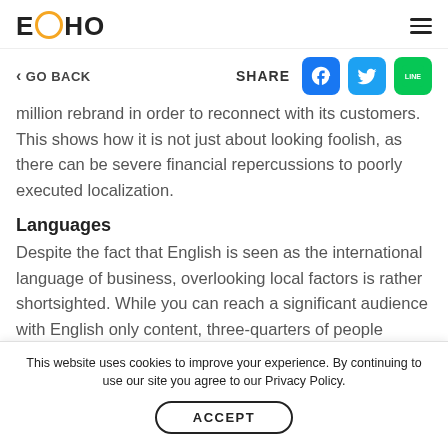EQHO
GO BACK
SHARE
million rebrand in order to reconnect with its customers. This shows how it is not just about looking foolish, as there can be severe financial repercussions to poorly executed localization.
Languages
Despite the fact that English is seen as the international language of business, overlooking local factors is rather shortsighted. While you can reach a significant audience with English only content, three-quarters of people around the
This website uses cookies to improve your experience. By continuing to use our site you agree to our Privacy Policy.
ACCEPT